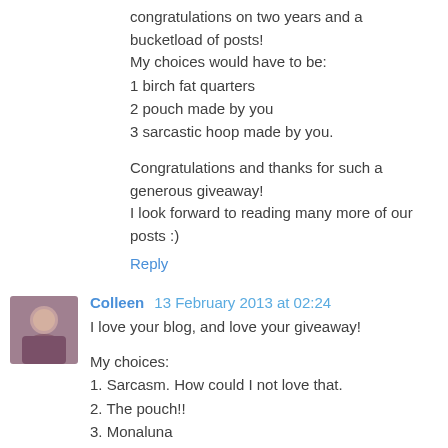congratulations on two years and a bucketload of posts! My choices would have to be:
1 birch fat quarters
2 pouch made by you
3 sarcastic hoop made by you.
Congratulations and thanks for such a generous giveaway! I look forward to reading many more of our posts :)
Reply
Colleen  13 February 2013 at 02:24
I love your blog, and love your giveaway!
My choices:
1. Sarcasm. How could I not love that.
2. The pouch!!
3. Monaluna
Reply